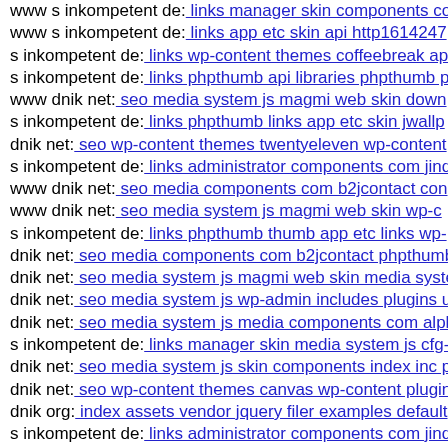www s inkompetent de: links manager skin components co...
www s inkompetent de: links app etc skin api http1614247...
s inkompetent de: links wp-content themes coffeebreak ap...
s inkompetent de: links phpthumb api libraries phpthumb p...
www dnik net: seo media system js magmi web skin down...
s inkompetent de: links phpthumb links app etc skin jwallp...
dnik net: seo wp-content themes twentyeleven wp-content...
s inkompetent de: links administrator components com jind...
www dnik net: seo media components com b2jcontact con...
www dnik net: seo media system js magmi web skin wp-c...
s inkompetent de: links phpthumb thumb app etc links wp-...
dnik net: seo media components com b2jcontact phpthumb...
dnik net: seo media system js magmi web skin media syste...
dnik net: seo media system js wp-admin includes plugins u...
dnik net: seo media system js media components com alph...
s inkompetent de: links manager skin media system js cfg-...
dnik net: seo media system js skin components index inc p...
dnik net: seo wp-content themes canvas wp-content plugin...
dnik org: index assets vendor jquery filer examples default...
s inkompetent de: links administrator components com jind...
...